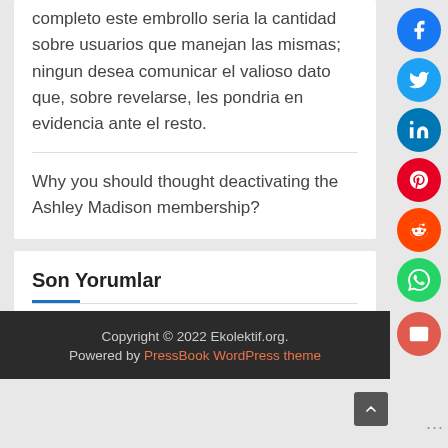completo este embrollo seria la cantidad sobre usuarios que manejan las mismas; ningun desea comunicar el valioso dato que, sobre revelarse, les pondria en evidencia ante el resto.
Why you should thought deactivating the Ashley Madison membership?
Son Yorumlar
Hello world! için A WordPress Commenter
Copyright © 2022 Ekolektif.org. Powered by PressBook WordPress theme